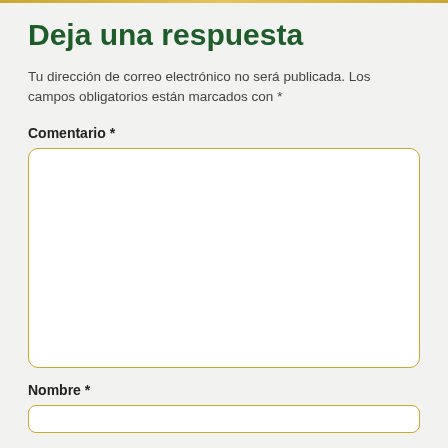Deja una respuesta
Tu dirección de correo electrónico no será publicada. Los campos obligatorios están marcados con *
Comentario *
[Figure (other): Empty textarea input field with golden/olive rounded border for comment entry]
Nombre *
[Figure (other): Empty text input field with golden/olive rounded border for name entry]